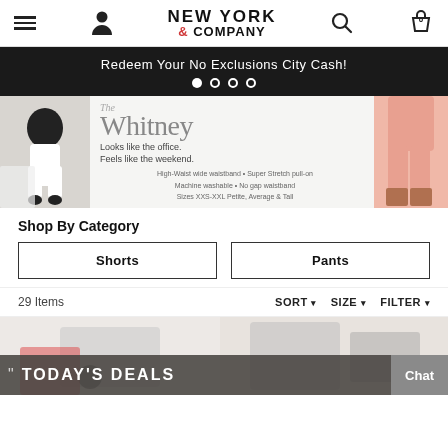New York & Company — Navigation header with hamburger menu, user icon, brand name, search, and bag icons
Redeem Your No Exclusions City Cash!
[Figure (photo): The Whitney pants promotional banner showing women wearing fitted pants, with tagline 'Looks like the office. Feels like the weekend.' and features: High-Waist wide waistband, Super Stretch pull-on, Machine washable, No gap waistband, Sizes XXS-XXL Petite, Average & Tall]
Shop By Category
Shorts
Pants
29 Items
SORT ▾  SIZE ▾  FILTER ▾
[Figure (screenshot): Product listing grid showing two partial product images at bottom]
TODAY'S DEALS
Chat